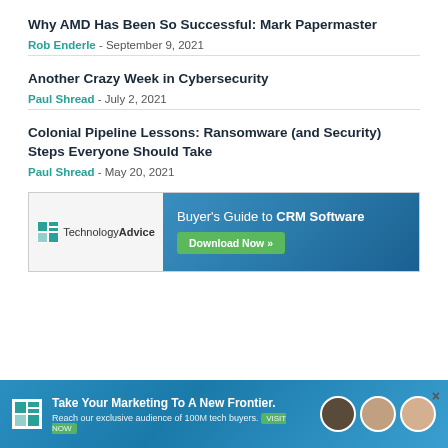Why AMD Has Been So Successful: Mark Papermaster
Rob Enderle - September 9, 2021
Another Crazy Week in Cybersecurity
Paul Shread - July 2, 2021
Colonial Pipeline Lessons: Ransomware (and Security) Steps Everyone Should Take
Paul Shread - May 20, 2021
[Figure (infographic): TechnologyAdvice advertisement banner: Buyer's Guide to CRM Software - Download Now button]
[Figure (infographic): TechnologyAdvice bottom banner ad: Take Your Marketing To A New Frontier. Reach our exclusive audience of 100M tech buyers. With people photos on the right.]